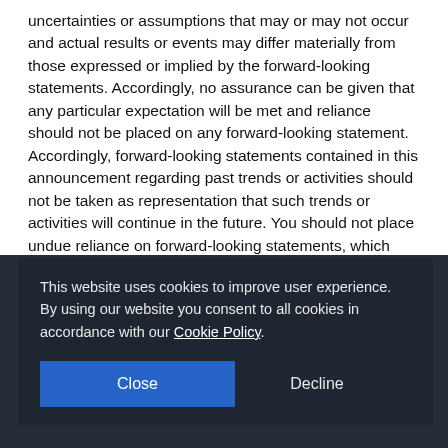uncertainties or assumptions that may or may not occur and actual results or events may differ materially from those expressed or implied by the forward-looking statements. Accordingly, no assurance can be given that any particular expectation will be met and reliance should not be placed on any forward-looking statement. Accordingly, forward-looking statements contained in this announcement regarding past trends or activities should not be taken as representation that such trends or activities will continue in the future. You should not place undue reliance on forward-looking statements, which
[Figure (screenshot): Cookie consent overlay banner with dark background. Text reads: 'This website uses cookies to improve user experience. By using our website you consent to all cookies in accordance with our Cookie Policy.' Two buttons: 'Close' (blue) and 'Decline' (text).]
website address, have been provided to direct the reader to